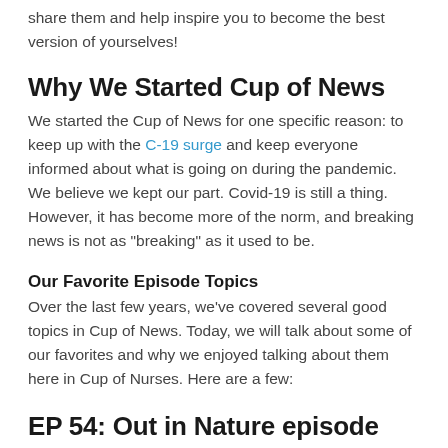share them and help inspire you to become the best version of yourselves!
Why We Started Cup of News
We started the Cup of News for one specific reason: to keep up with the C-19 surge and keep everyone informed about what is going on during the pandemic. We believe we kept our part. Covid-19 is still a thing. However, it has become more of the norm, and breaking news is not as “breaking” as it used to be.
Our Favorite Episode Topics
Over the last few years, we’ve covered several good topics in Cup of News. Today, we will talk about some of our favorites and why we enjoyed talking about them here in Cup of Nurses. Here are a few:
EP 54: Out in Nature episode
No show notes but what a great trip it was. A great episode about reconnecting with yourself and nature.